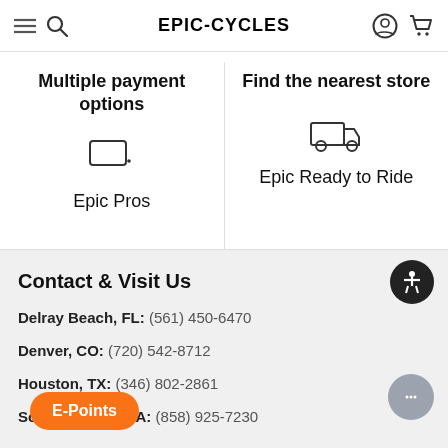EPIC-CYCLES
Multiple payment options
Find the nearest store
[Figure (illustration): Chat/speech bubble icon]
Epic Pros
[Figure (illustration): Delivery truck icon]
Epic Ready to Ride
Contact & Visit Us
Delray Beach, FL: (561) 450-6470
Denver, CO: (720) 542-8712
Houston, TX: (346) 802-2861
Solana Beach, CA: (858) 925-7230
E-Points